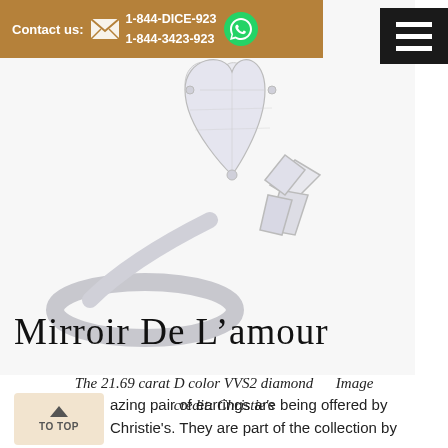Contact us: 1-844-DICE-923 1-844-3423-923
[Figure (photo): Close-up photograph of a large heart-shaped diamond ring with baguette side stones set in platinum, the 21.69 carat D color VVS2 diamond, image credit Christie's]
The 21.69 carat D color VVS2 diamond Image credit: Christie's
Mirroir De L’amour
amazing pair of earrings are being offered by Christie's. They are part of the collection by